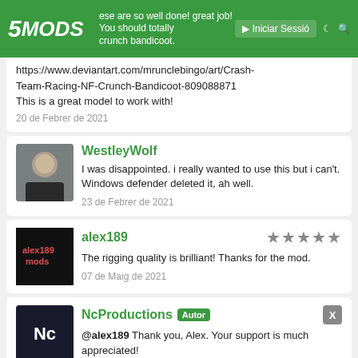5MODS | Iniciar Sessió
https://www.deviantart.com/mrunclebingo/art/Crash-Team-Racing-NF-Crunch-Bandicoot-809088871
This is a great model to work with!
20 de Febrer de 2021
WestleyWolf
I was disappointed. i really wanted to use this but i can't. Windows defender deleted it, ah well.
23 de Febrer de 2021
alex189
★★★★★
The rigging quality is brilliant! Thanks for the mod.
07 de Maig de 2021
NcProductions [Autor]
@alex189 Thank you, Alex. Your support is much appreciated!
07 de Maig de 2021